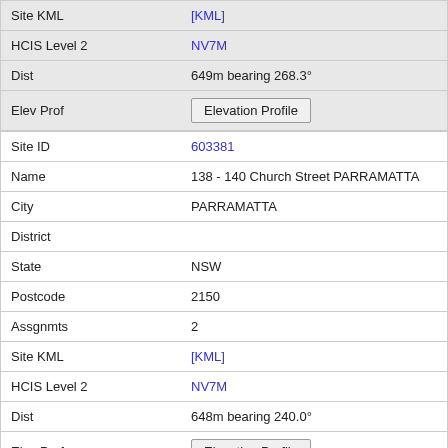| Field | Value |
| --- | --- |
| Site KML | [KML] |
| HCIS Level 2 | NV7M |
| Dist | 649m bearing 268.3° |
| Elev Prof | Elevation Profile |
| Field | Value |
| --- | --- |
| Site ID | 603381 |
| Name | 138 - 140 Church Street PARRAMATTA |
| City | PARRAMATTA |
| District |  |
| State | NSW |
| Postcode | 2150 |
| Assgnmts | 2 |
| Site KML | [KML] |
| HCIS Level 2 | NV7M |
| Dist | 648m bearing 240.0° |
| Elev Prof | Elevation Profile |
Page > >>